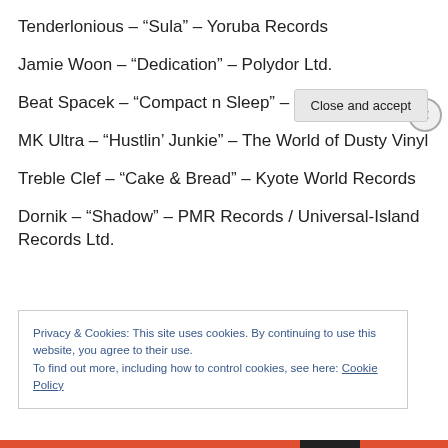Tenderlonious – “Sula” – Yoruba Records
Jamie Woon – “Dedication” – Polydor Ltd.
Beat Spacek – “Compact n Sleep” – Ninja Tune
MK Ultra – “Hustlin’ Junkie” – The World of Dusty Vinyl
Treble Clef – “Cake & Bread” – Kyote World Records
Dornik – “Shadow” – PMR Records / Universal-Island Records Ltd.
Privacy & Cookies: This site uses cookies. By continuing to use this website, you agree to their use.
To find out more, including how to control cookies, see here: Cookie Policy